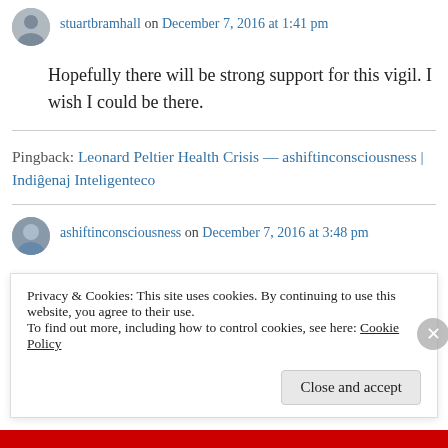stuartbramhall on December 7, 2016 at 1:41 pm
Hopefully there will be strong support for this vigil. I wish I could be there.
Pingback: Leonard Peltier Health Crisis — ashiftinconsciousness | Indiĝenaj Inteligenteco
ashiftinconsciousness on December 7, 2016 at 3:48 pm
Privacy & Cookies: This site uses cookies. By continuing to use this website, you agree to their use.
To find out more, including how to control cookies, see here: Cookie Policy